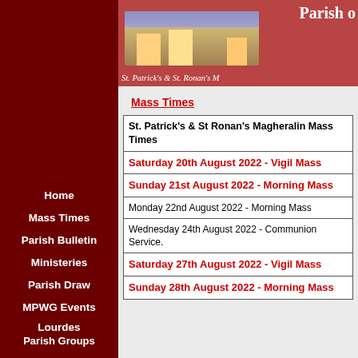[Figure (illustration): Parish website header banner showing a church building illustration with text 'Parish of...' and 'St. Patrick's & St. Ronan's M...' on a dark red background]
Parish of... / St. Patrick's & St. Ronan's M...
Home
Mass Times
Parish Bulletin
Ministeries
Parish Draw
MPWG Events
Lourdes
Parish Groups
Gallery
Contact
Links
Mass Times
| St. Patrick's  & St Ronan's Magheralin Mass Times |
| --- |
| Saturday 20th August 2022 - Vigil Mass |
| Sunday 21st August 2022 - Morning Mass |
| Monday 22nd August 2022 - Morning Mass |
| Wednesday 24th August 2022  - Communion Service. |
| Saturday 27th August 2022 - Vigil Mass |
| Sunday 28th August 2022 - Morning Mass |